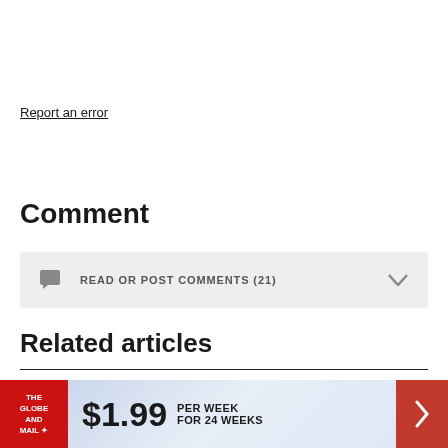Report an error
Comment
READ OR POST COMMENTS (21)
Related articles
China downgrades diplomatic ties
[Figure (infographic): The Globe and Mail advertisement banner: $1.99 per week for 24 weeks]
$1.99 PER WEEK FOR 24 WEEKS